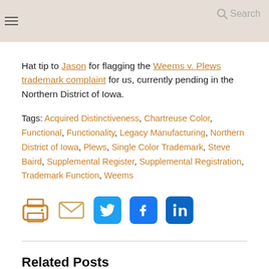Navigation bar with hamburger menu and search
Hat tip to Jason for flagging the Weems v. Plews trademark complaint for us, currently pending in the Northern District of Iowa.
Tags: Acquired Distinctiveness, Chartreuse Color, Functional, Functionality, Legacy Manufacturing, Northern District of Iowa, Plews, Single Color Trademark, Steve Baird, Supplemental Register, Supplemental Registration, Trademark Function, Weems
[Figure (infographic): Social sharing icons row: print (orange), email (tan/outline), Twitter (blue), Facebook (dark blue), LinkedIn (blue)]
Related Posts
[Figure (photo): Gray placeholder image for related post]